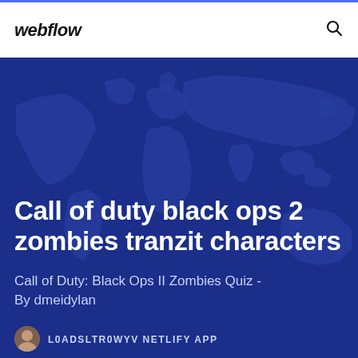webflow
Call of duty black ops 2 zombies tranzit characters
Call of Duty: Black Ops II Zombies Quiz - By dmeidylan
L0ADSLTR0WYV NETLIFY APP